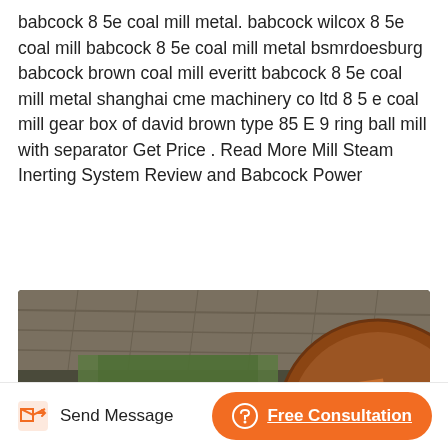babcock 8 5e coal mill metal. babcock wilcox 8 5e coal mill babcock 8 5e coal mill metal bsmrdoesburg babcock brown coal mill everitt babcock 8 5e coal mill metal shanghai cme machinery co ltd 8 5 e coal mill gear box of david brown type 85 E 9 ring ball mill with separator Get Price . Read More Mill Steam Inerting System Review and Babcock Power
[Figure (photo): Industrial machinery photo showing large rusty gears, green cylindrical components, and mechanical equipment inside a covered industrial building]
Send Message
Free Consultation